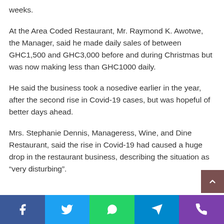weeks.
At the Area Coded Restaurant, Mr. Raymond K. Awotwe, the Manager, said he made daily sales of between GHC1,500 and GHC3,000 before and during Christmas but was now making less than GHC1000 daily.
He said the business took a nosedive earlier in the year, after the second rise in Covid-19 cases, but was hopeful of better days ahead.
Mrs. Stephanie Dennis, Manageress, Wine, and Dine Restaurant, said the rise in Covid-19 had caused a huge drop in the restaurant business, describing the situation as “very disturbing”.
Social share bar: Facebook, Twitter, WhatsApp, Telegram, Phone